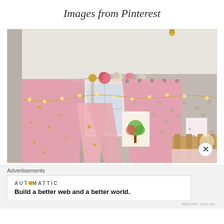Images from Pinterest
[Figure (photo): A decorated children's bedroom with pink canopy bed curtains adorned with gold stars, pink curtains framing a window, fairy lights strung along the wall, polka dot wall decals, and colorful artwork on the wall. A wooden bed headboard is visible in the right corner. Pink flower decorations sit atop the curtain rod.]
Advertisements
[Figure (logo): Automattic logo with orange dot replacing the 'o']
Build a better web and a better world.
REPORT THIS AD